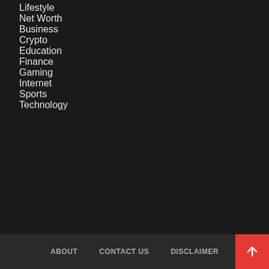Lifestyle
Net Worth
Business
Crypto
Education
Finance
Gaming
Internet
Sports
Technology
ABOUT   CONTACT US   DISCLAIMER